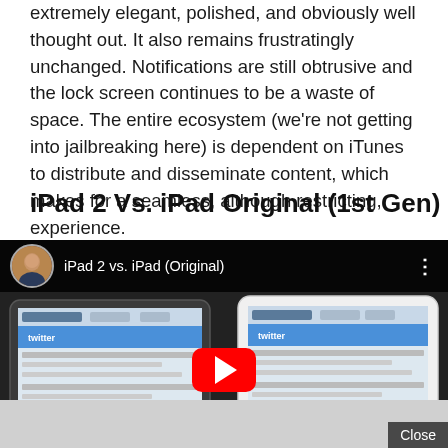extremely elegant, polished, and obviously well thought out. It also remains frustratingly unchanged. Notifications are still obtrusive and the lock screen continues to be a waste of space. The entire ecosystem (we're not getting into jailbreaking here) is dependent on iTunes to distribute and disseminate content, which makes for a seamless, although restricting, experience.
iPad 2 Vs. iPad Original (1st Gen)
[Figure (screenshot): YouTube video thumbnail showing 'iPad 2 vs. iPad (Original)' video with a person's avatar, two iPad screens side by side displaying a website, and a YouTube play button overlay. A 'Close' button appears in the bottom right.]